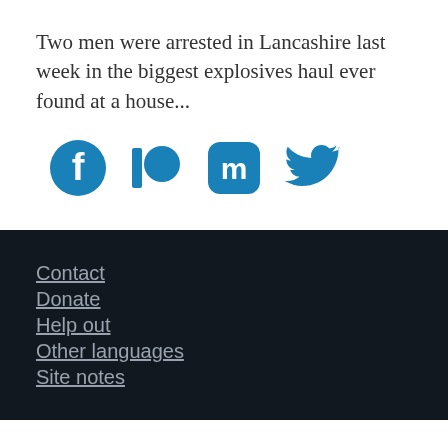Two men were arrested in Lancashire last week in the biggest explosives haul ever found at a house…
[Figure (infographic): Four social media icons in blue: Facebook, Patreon, Mastodon, Twitter]
Contact
Donate
Help out
Other languages
Site notes